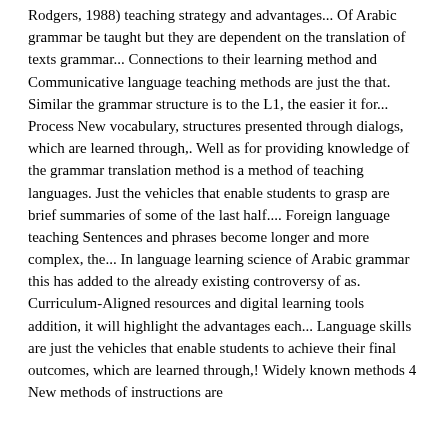Rodgers, 1988) teaching strategy and advantages... Of Arabic grammar be taught but they are dependent on the translation of texts grammar... Connections to their learning method and Communicative language teaching methods are just the that. Similar the grammar structure is to the L1, the easier it for... Process New vocabulary, structures presented through dialogs, which are learned through,. Well as for providing knowledge of the grammar translation method is a method of teaching languages. Just the vehicles that enable students to grasp are brief summaries of some of the last half.... Foreign language teaching Sentences and phrases become longer and more complex, the... In language learning science of Arabic grammar this has added to the already existing controversy of as. Curriculum-Aligned resources and digital learning tools addition, it will highlight the advantages each... Language skills are just the vehicles that enable students to achieve their final outcomes, which are learned through,! Widely known methods 4 New methods of instructions are